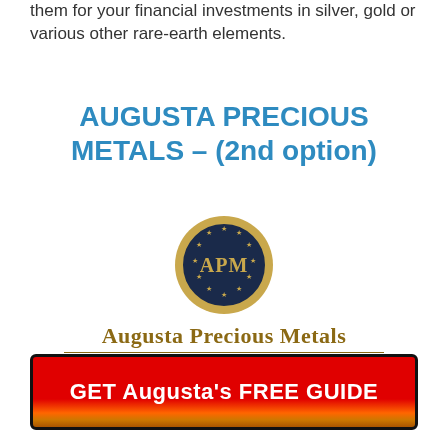them for your financial investments in silver, gold or various other rare-earth elements.
AUGUSTA PRECIOUS METALS – (2nd option)
[Figure (logo): Augusta Precious Metals circular badge logo with dark navy blue background, gold border, stars around the edge, and 'APM' text in gold in the center. Below the badge: 'Augusta Precious Metals' in gold serif font with a gold underline, and 'Your Premier Gold IRA Partner' tagline in smaller italic text.]
GET Augusta's FREE GUIDE